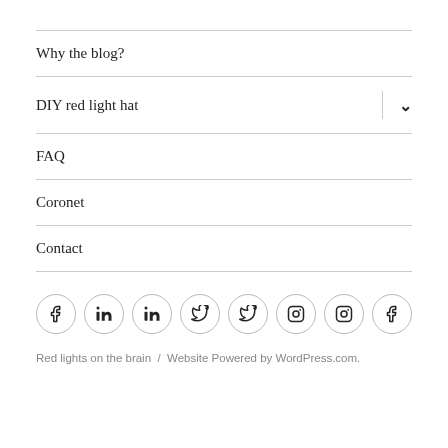Why the blog?
DIY red light hat
FAQ
Coronet
Contact
[Figure (other): Row of 8 social media icons (Facebook, LinkedIn, LinkedIn, Twitter, Twitter, Instagram, Instagram, Facebook) in circular outlined buttons]
Red lights on the brain  /  Website Powered by WordPress.com.